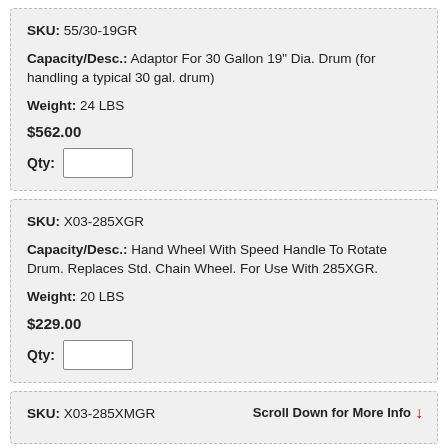SKU: 55/30-19GR
Capacity/Desc.: Adaptor For 30 Gallon 19" Dia. Drum (for handling a typical 30 gal. drum)
Weight: 24 LBS
$562.00
Qty:
SKU: X03-285XGR
Capacity/Desc.: Hand Wheel With Speed Handle To Rotate Drum. Replaces Std. Chain Wheel. For Use With 285XGR.
Weight: 20 LBS
$229.00
Qty:
SKU: X03-285XMGR
Scroll Down for More Info